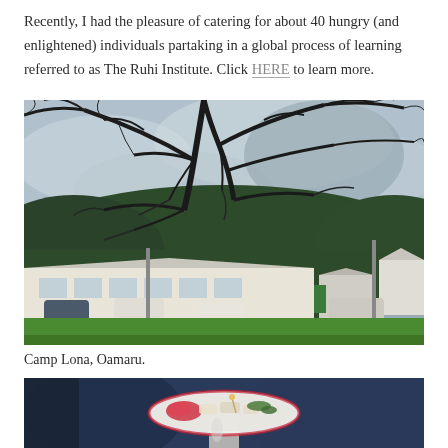Recently, I had the pleasure of catering for about 40 hungry (and enlightened) individuals partaking in a global process of learning referred to as The Ruhi Institute. Click HERE to learn more.
[Figure (photo): Outdoor photograph of Camp Lona in Oamaru, New Zealand. Shows low white buildings with metal roofs, cars parked outside, green lawn in foreground, dense forest-covered hills in background, overcast sky, and large dark pine tree branches dominating the upper portion of the frame.]
Camp Lona, Oamaru.
[Figure (photo): Close-up photograph of a person holding a plate of food including what appears to be finger foods and garnishes, on a silver tray/stand. The background is blurred blue tones.]